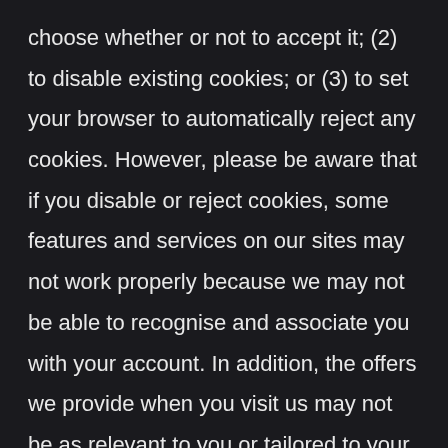choose whether or not to accept it; (2) to disable existing cookies; or (3) to set your browser to automatically reject any cookies. However, please be aware that if you disable or reject cookies, some features and services on our sites may not work properly because we may not be able to recognise and associate you with your account. In addition, the offers we provide when you visit us may not be as relevant to you or tailored to your interests.
Please note that cookies can't harm your